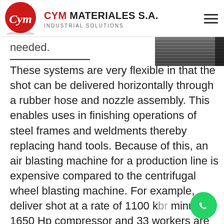CYM MATERIALES S.A. INDUSTRIAL SOLUTIONS
[Figure (photo): Partial view of industrial metal grating or blasting equipment, top right corner]
needed.
These systems are very flexible in that the shot can be delivered horizontally through a rubber hose and nozzle assembly. This enables uses in finishing operations of steel frames and weldments thereby replacing hand tools. Because of this, an air blasting machine for a production line is expensive compared to the centrifugal wheel blasting machine. For example, deliver shot at a rate of 1100 k[lb] per minute a 1650 Hp compressor and 33 workers are needed using 10